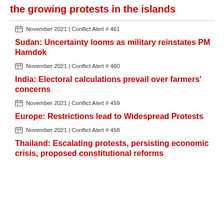the growing protests in the islands
November 2021 | Conflict Alert # 461
Sudan: Uncertainty looms as military reinstates PM Hamdok
November 2021 | Conflict Alert # 460
India: Electoral calculations prevail over farmers' concerns
November 2021 | Conflict Alert # 459
Europe: Restrictions lead to Widespread Protests
November 2021 | Conflict Alert # 458
Thailand: Escalating protests, persisting economic crisis, proposed constitutional reforms